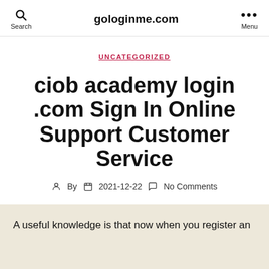gologinme.com
UNCATEGORIZED
ciob academy login .com Sign In Online Support Customer Service
By  2021-12-22  No Comments
A useful knowledge is that now when you register an